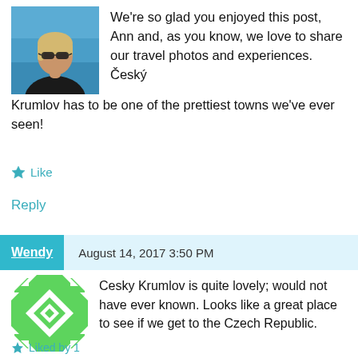[Figure (photo): Profile photo of a woman with sunglasses and dark top, with blue water in background]
We're so glad you enjoyed this post, Ann and, as you know, we love to share our travel photos and experiences. Český Krumlov has to be one of the prettiest towns we've ever seen!
★ Like
Reply
Wendy   August 14, 2017 3:50 PM
[Figure (illustration): Green and white geometric avatar/icon with diamond and arrow pattern]
Cesky Krumlov is quite lovely; would not have ever known. Looks like a great place to see if we get to the Czech Republic.
Liked by 1